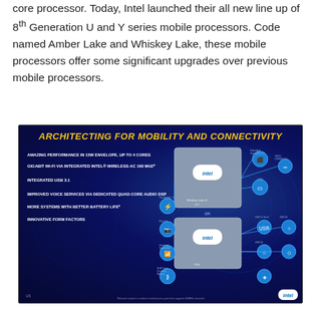core processor. Today, Intel launched their all new line up of 8th Generation U and Y series mobile processors. Code named Amber Lake and Whiskey Lake, these mobile processors offer some significant upgrades over previous mobile processors.
[Figure (infographic): Intel infographic titled 'Architecting for Mobility and Connectivity' on a dark blue background with circuit diagram of Whiskey Lake U chip. Lists: Amazing performance in 15W envelope, up to 4 cores; Gigabit Wi-Fi via integrated Intel Wireless-AC 160 MHz; Integrated USB 3.1; Improved voice services via dedicated quad-core audio DSP; More systems with better battery life; Innovative form factors. Shows chip block diagram with connectivity icons.]